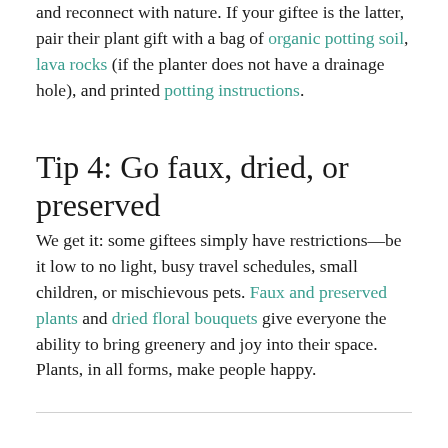and reconnect with nature. If your giftee is the latter, pair their plant gift with a bag of organic potting soil, lava rocks (if the planter does not have a drainage hole), and printed potting instructions.
Tip 4: Go faux, dried, or preserved
We get it: some giftees simply have restrictions—be it low to no light, busy travel schedules, small children, or mischievous pets. Faux and preserved plants and dried floral bouquets give everyone the ability to bring greenery and joy into their space. Plants, in all forms, make people happy.